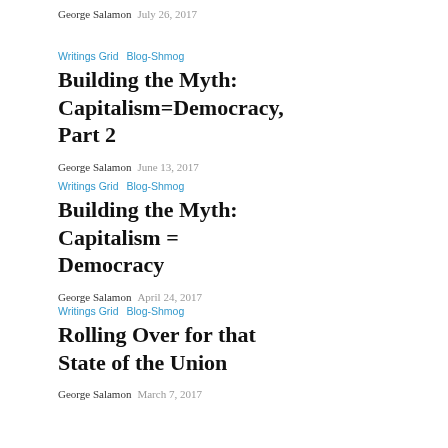George Salamon   July 26, 2017
Writings Grid   Blog-Shmog
Building the Myth: Capitalism=Democracy, Part 2
George Salamon   June 13, 2017
Writings Grid   Blog-Shmog
Building the Myth: Capitalism = Democracy
George Salamon   April 24, 2017
Writings Grid   Blog-Shmog
Rolling Over for that State of the Union
George Salamon   March 7, 2017